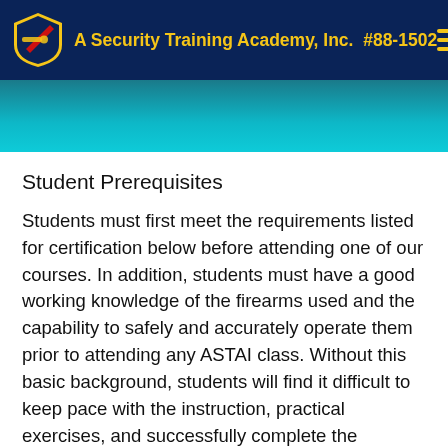A Security Training Academy, Inc. #88-1502
Student Prerequisites
Students must first meet the requirements listed for certification below before attending one of our courses. In addition, students must have a good working knowledge of the firearms used and the capability to safely and accurately operate them prior to attending any ASTAI class. Without this basic background, students will find it difficult to keep pace with the instruction, practical exercises, and successfully complete the proficiency assessments. Students who are not able to